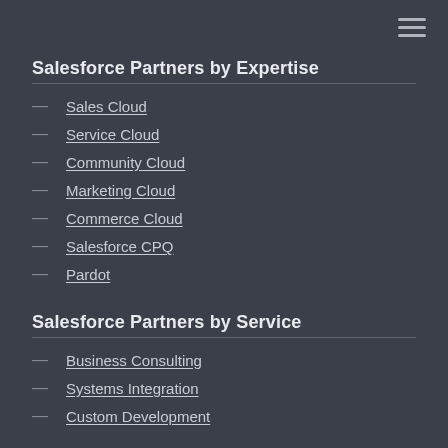Salesforce Partners by Expertise
Sales Cloud
Service Cloud
Community Cloud
Marketing Cloud
Commerce Cloud
Salesforce CPQ
Pardot
Salesforce Partners by Service
Business Consulting
Systems Integration
Custom Development